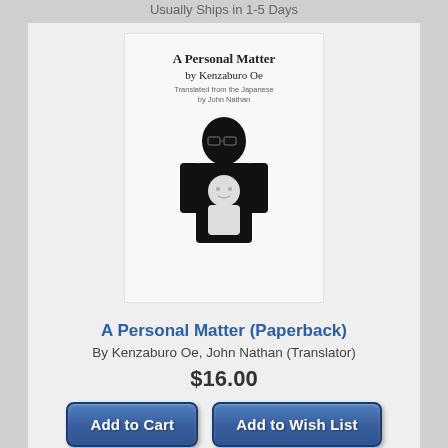Usually Ships in 1-5 Days
[Figure (photo): Book cover of 'A Personal Matter' by Kenzaburo Oe, showing a black and white illustration of a man holding a baby]
A Personal Matter (Paperback)
By Kenzaburo Oe, John Nathan (Translator)
$16.00
Add to Cart
Add to Wish List
Usually Ships in 1-5 Days
[Figure (photo): Book cover of 'Discovering Fiction' by Yan Lianke, showing colorful artwork with birds and figures]